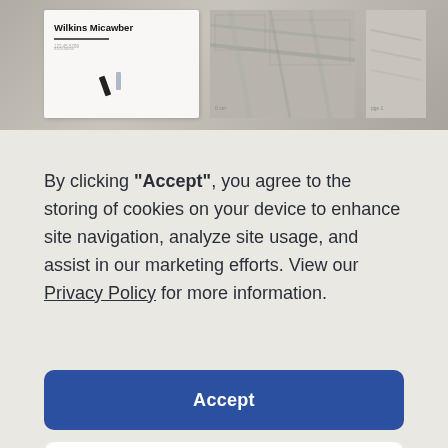[Figure (screenshot): Top portion of a website showing a document preview with 'Wilkins Micawber' text, partially visible document pages with images, on a grey concrete-textured background]
By clicking "Accept", you agree to the storing of cookies on your device to enhance site navigation, analyze site usage, and assist in our marketing efforts. View our Privacy Policy for more information.
Accept
Deny